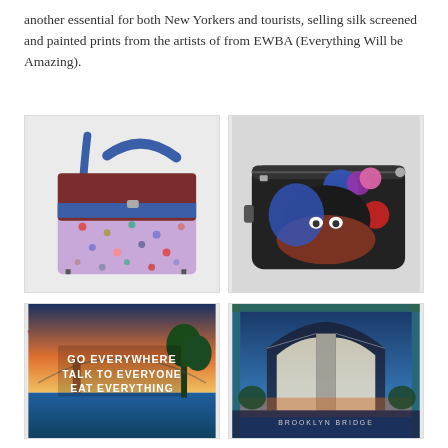another essential for both New Yorkers and tourists, selling silk screened and painted prints from the artists of from EWBA (Everything Will be Amazing).
[Figure (photo): Purple and blue crossbody structured handbag with dotted pattern and brown flap]
[Figure (photo): Black camera-style crossbody bag with colorful abstract face design and pom-poms]
[Figure (photo): Painted print with text 'GO EVERYWHERE TALK TO EVERYONE EAT EVERYTHING' over a bridge/sunset scene]
[Figure (photo): Printed artwork showing Brooklyn Bridge arches with blue tones]